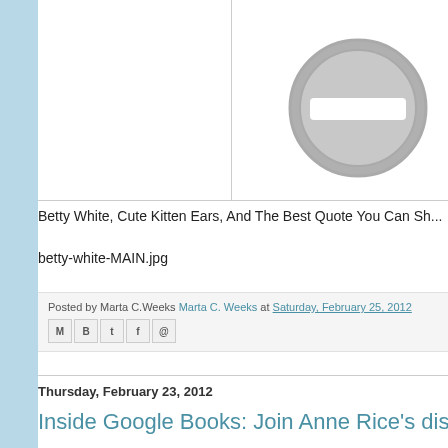[Figure (other): Blog page screenshot showing a no-image placeholder icon (grey circle with minus sign), a post about Betty White, and a section for a Google Books article. Left sidebar is light blue.]
Betty White, Cute Kitten Ears, And The Best Quote You Can Sh...
betty-white-MAIN.jpg
Posted by Marta C.Weeks Marta C. Weeks at Saturday, February 25, 2012
Thursday, February 23, 2012
Inside Google Books: Join Anne Rice's discussion of "T...